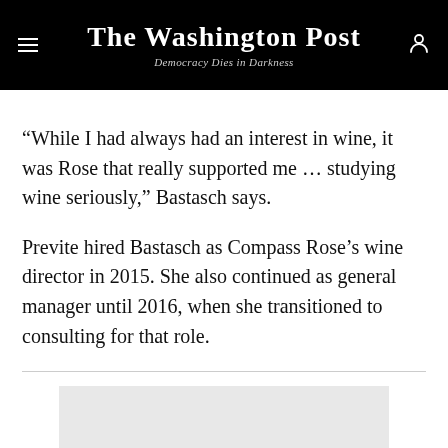The Washington Post — Democracy Dies in Darkness
“While I had always had an interest in wine, it was Rose that really supported me … studying wine seriously,” Bastasch says.
Previte hired Bastasch as Compass Rose’s wine director in 2015. She also continued as general manager until 2016, when she transitioned to consulting for that role.
[Figure (other): Advertisement placeholder gray box]